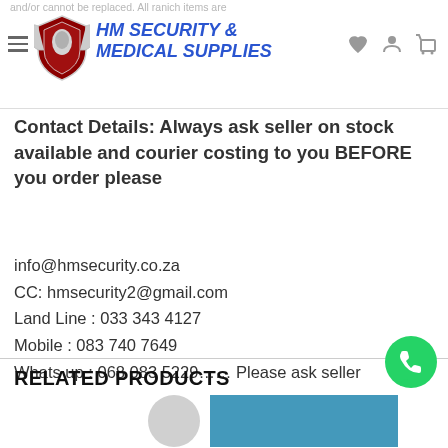HM SECURITY & MEDICAL SUPPLIES
Contact Details: Always ask seller on stock available and courier costing to you BEFORE you order please
info@hmsecurity.co.za
CC: hmsecurity2@gmail.com
Land Line : 033 343 4127
Mobile : 083 740 7649
Whats up : 068 083 5229...... Please ask seller questions BEFORE you ORDER and make PAYMENT
RELATED PRODUCTS
[Figure (logo): WhatsApp green bubble icon in bottom right corner]